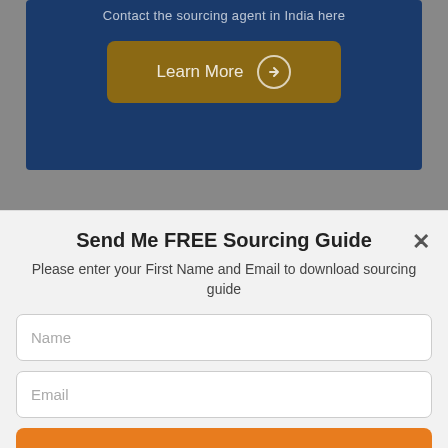[Figure (screenshot): Top section with dark blue banner containing text 'Contact the sourcing agent in India here' and a gold 'Learn More' button with a circle arrow icon, set against a gray background.]
Send Me FREE Sourcing Guide
Please enter your First Name and Email to download sourcing guide
Name
Email
SEND